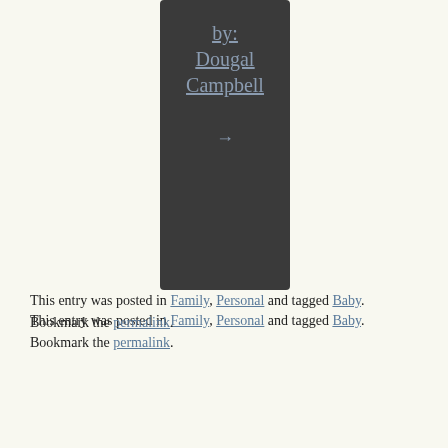[Figure (other): Dark card element showing author name 'Dougal Campbell' with arrow, displayed on dark background panel]
This entry was posted in Family, Personal and tagged Baby. Bookmark the permalink.
← Googlebomb: Popup Blockers
Lawmakers move to extend daylight-saving time →